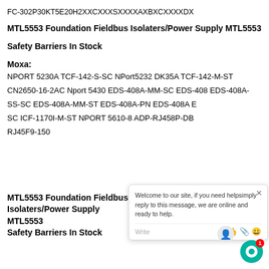FC-302P30KT5E20H2XXCXXXSXXXXAXBXCXXXXDX
MTL5553 Foundation Fieldbus Isolaters/Power Supply MTL5553 Safety Barriers In Stock
Moxa:
NPORT 5230A TCF-142-S-SC NPort5232 DK35A TCF-142-M-ST CN2650-16-2AC Nport 5430 EDS-408A-MM-SC EDS-408 EDS-408A-SS-SC EDS-408A-MM-ST EDS-408A-PN EDS-408A E SC ICF-1170I-M-ST NPORT 5610-8 ADP-RJ458P-DB5 RJ45F9-150
MTL5553 Foundation Fieldbus Isolaters/Power Supply MTL5553 Safety Barriers In Stock